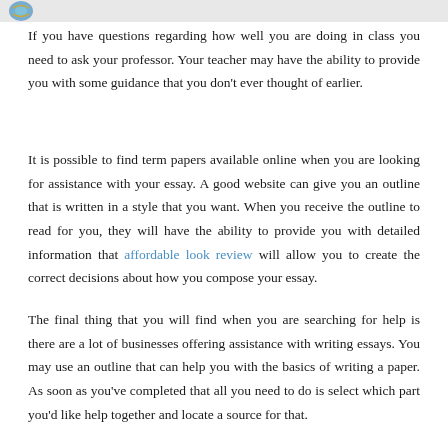[Figure (logo): Circular logo/seal in top left corner]
If you have questions regarding how well you are doing in class you need to ask your professor. Your teacher may have the ability to provide you with some guidance that you don't ever thought of earlier.
It is possible to find term papers available online when you are looking for assistance with your essay. A good website can give you an outline that is written in a style that you want. When you receive the outline to read for you, they will have the ability to provide you with detailed information that affordable look review will allow you to create the correct decisions about how you compose your essay.
The final thing that you will find when you are searching for help is there are a lot of businesses offering assistance with writing essays. You may use an outline that can help you with the basics of writing a paper. As soon as you've completed that all you need to do is select which part you'd like help together and locate a source for that.